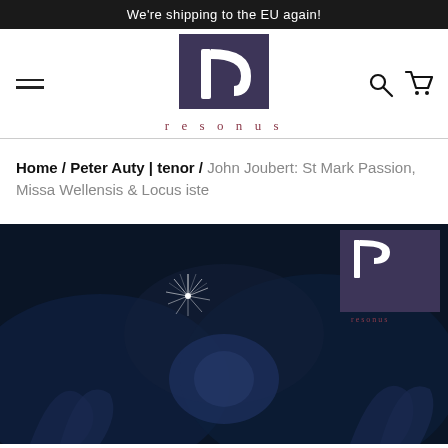We're shipping to the EU again!
[Figure (logo): Resonus Records logo — purple square with white stylized 'r' and the word 'resonus' in spaced serif lettering below]
Home / Peter Auty | tenor / John Joubert: St Mark Passion, Missa Wellensis & Locus iste
[Figure (photo): Dark blue-toned album cover artwork showing a dramatic painted scene with figures and a starburst of light, with a small Resonus logo in the upper-right corner]